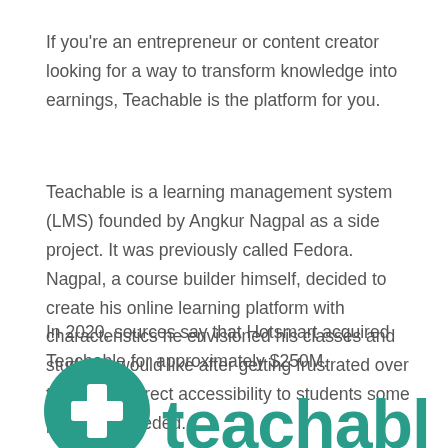If you're an entrepreneur or content creator looking for a way to transform knowledge into earnings, Teachable is the platform for you.
Teachable is a learning management system (LMS) founded by Angkur Nagpal as a side project. It was previously called Fedora. Nagpal, a course builder himself, decided to create his online learning platform with characteristics he envisioned his classes and students would like after getting frustrated over the lack of direct accessibility to students some platforms needed.
In 2020, sources say that Hotsmart acquired Teachable for approximately $250M.
[Figure (logo): Teachable logo: teal circular icon with a white plus/cross symbol, followed by the word 'teachable' in teal bold text (partially cropped at bottom of page)]